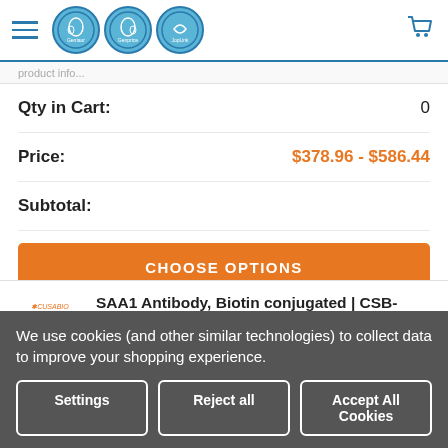Gentaur Genprice JopLink — navigation header with logos and cart icon
Qty in Cart: 0
Price: $378.96 - $586.44
Subtotal:
CHOOSE OPTIONS
SAA1 Antibody, Biotin conjugated | CSB-PA020656LD01DO
Cusabio Polyclonal Antibodies
We use cookies (and other similar technologies) to collect data to improve your shopping experience.
Settings
Reject all
Accept All Cookies